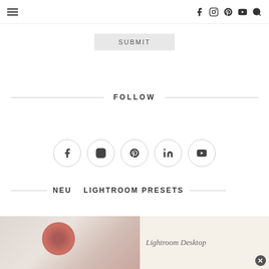Navigation bar with hamburger menu and social icons (Facebook, Instagram, Pinterest, YouTube, Search)
SUBMIT
FOLLOW
[Figure (infographic): Five social media icons in circles: Facebook (f), Instagram, Pinterest, LinkedIn (in), YouTube]
NEU   LIGHTROOM PRESETS
[Figure (photo): Photo of raspberries in a bowl on the left, and a beige/cream panel on the right with text 'Lightroom Desktop']